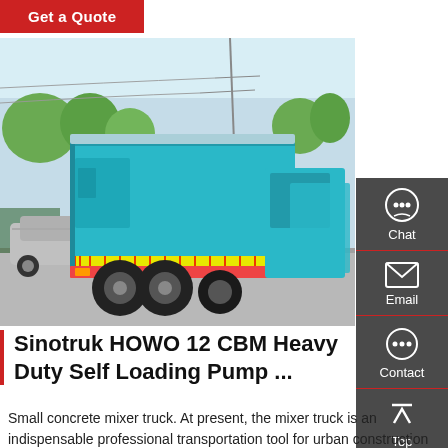Get a Quote
[Figure (photo): Sinotruk HOWO heavy duty self loading pump truck, teal/cyan colored, rear view in a parking/road area with trees and cars visible in background]
[Figure (infographic): Sidebar panel with Chat, Email, Contact, and Top navigation icons]
Sinotruk HOWO 12 CBM Heavy Duty Self Loading Pump ...
Small concrete mixer truck. At present, the mixer truck is an indispensable professional transportation tool for urban construction roads, bridges, houses, w